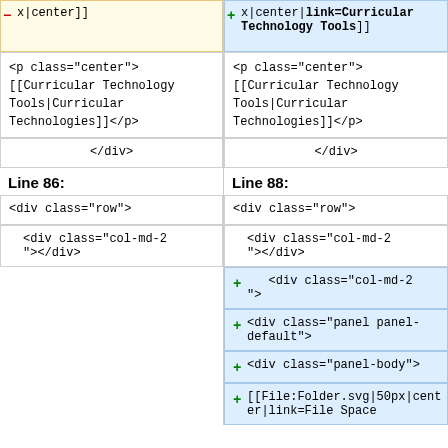| Line (left) | Line (right) |
| --- | --- |
| −x|center]] | +x|center|link=Curricular Technology Tools]] |
| <p class="center">
[[Curricular Technology Tools|Curricular Technologies]]</p> | <p class="center">
[[Curricular Technology Tools|Curricular Technologies]]</p> |
| </div> | </div> |
Line 86:
Line 88:
| Line 86 | Line 88 |
| --- | --- |
| <div class="row"> | <div class="row"> |
|         <div class="col-md-2"></div> |         <div class="col-md-2"></div> |
|  | +  <div class="col-md-2"> |
|  | + <div class="panel panel-default"> |
|  | + <div class="panel-body"> |
|  | +[[File:Folder.svg|50px|center|link=File Space |